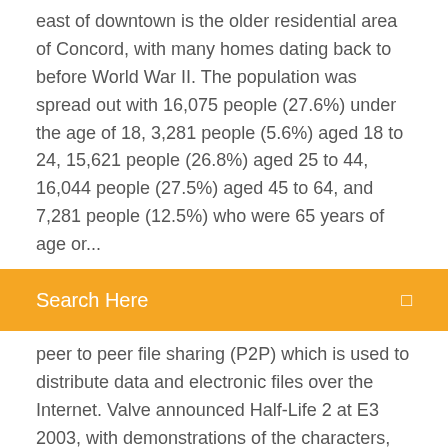east of downtown is the older residential area of Concord, with many homes dating back to before World War II. The population was spread out with 16,075 people (27.6%) under the age of 18, 3,281 people (5.6%) aged 18 to 24, 15,621 people (26.8%) aged 25 to 44, 16,044 people (27.5%) aged 45 to 64, and 7,281 people (12.5%) who were 65 years of age or...
[Figure (other): Orange search bar UI element with white text 'Search Here' on the left and a small square icon on the right]
peer to peer file sharing (P2P) which is used to distribute data and electronic files over the Internet. Valve announced Half-Life 2 at E3 2003, with demonstrations of the characters, animation, and physics. Reaction was positive, and the game won the E3 Game of the Show award. An artistic design of a location in the post-apocalyptic United States. Reviewers praised the design and layouts of the locations. During the 1950s, the mushroom clouds, from the 100 atmospheric tests, could be seen from almost 100 mi (160 km) away. The city of Las Vegas experienced noticeable seismic effects, and the mushroom